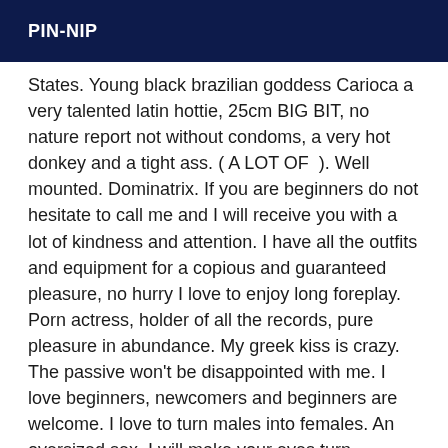PIN-NIP
States. Young black brazilian goddess Carioca a very talented latin hottie, 25cm BIG BIT, no nature report not without condoms, a very hot donkey and a tight ass. ( A LOT OF  ). Well mounted. Dominatrix. If you are beginners do not hesitate to call me and I will receive you with a lot of kindness and attention. I have all the outfits and equipment for a copious and guaranteed pleasure, no hurry I love to enjoy long foreplay. Porn actress, holder of all the records, pure pleasure in abundance. My greek kiss is crazy. The passive won't be disappointed with me. I love beginners, newcomers and beginners are welcome. I love to turn males into females. An oversized sex, I will make your eyes turn. Experience with couples, discretion assured. Special attention for passive gentlemen and appropriate masters. Active transex nymph, I also have a nice ass for the active gourmet My photos are 100% real and feel! No scams, no nasty surprises, so advertised only